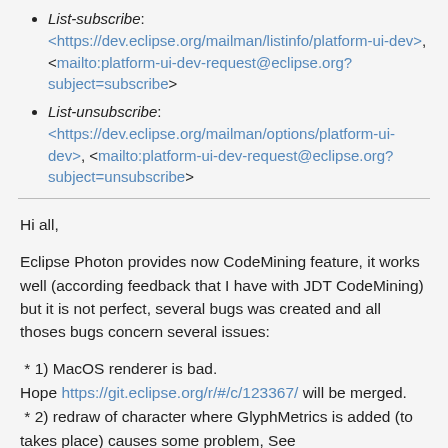List-subscribe: <https://dev.eclipse.org/mailman/listinfo/platform-ui-dev>, <mailto:platform-ui-dev-request@eclipse.org?subject=subscribe>
List-unsubscribe: <https://dev.eclipse.org/mailman/options/platform-ui-dev>, <mailto:platform-ui-dev-request@eclipse.org?subject=unsubscribe>
Hi all,
Eclipse Photon provides now CodeMining feature, it works well (according feedback that I have with JDT CodeMining) but it is not perfect, several bugs was created and all thoses bugs concern several issues:
* 1) MacOS renderer is bad.
Hope https://git.eclipse.org/r/#/c/123367/ will be merged.
 * 2) redraw of character where GlyphMetrics is added (to takes place) causes some problem, See issue https://bugs.eclipse.org/bugs/show_bug.cgi?id=531769